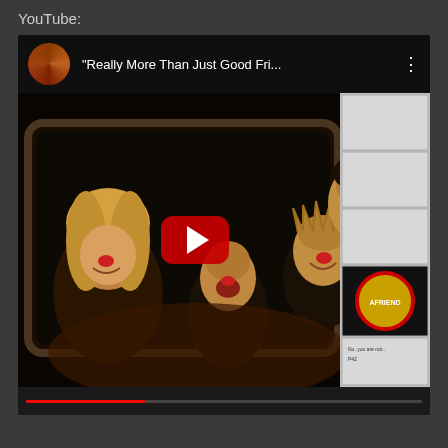YouTube:
[Figure (screenshot): YouTube video embed showing a thumbnail of people laughing inside what appears to be a van or bus window at night. The video title reads "Really More Than Just Good Fri..." with a channel avatar (circular portrait), a three-dot menu icon, and a red YouTube play button centered on the thumbnail. A right panel shows what appear to be related video thumbnails including a circular logo.]